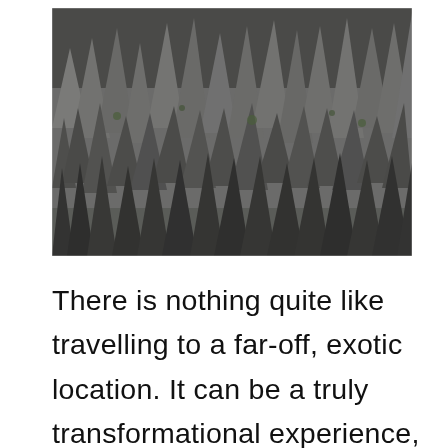[Figure (photo): Rocky stone forest / tsingy limestone formations — sharp jagged grey rock spires with sparse vegetation, viewed from ground level. Forest of Knives, Madagascar.]
There is nothing quite like travelling to a far-off, exotic location. It can be a truly transformational experience, opening your eyes to new cultures and ways of life. If you're looking for an adventure, why not consider one of these fifty amazing destinations. Forest of Knives, Madagascar The Forest of Madagascar...